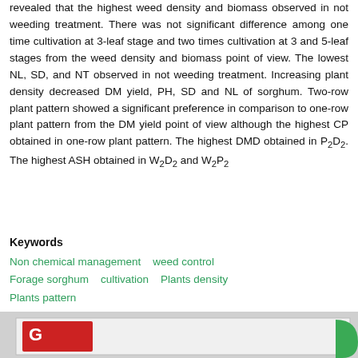revealed that the highest weed density and biomass observed in not weeding treatment. There was not significant difference among one time cultivation at 3-leaf stage and two times cultivation at 3 and 5-leaf stages from the weed density and biomass point of view. The lowest NL, SD, and NT observed in not weeding treatment. Increasing plant density decreased DM yield, PH, SD and NL of sorghum. Two-row plant pattern showed a significant preference in comparison to one-row plant pattern from the DM yield point of view although the highest CP obtained in one-row plant pattern. The highest DMD obtained in P₂D₂. The highest ASH obtained in W₂D₂ and W₂P₂
Keywords
Non chemical management   weed control   Forage sorghum   cultivation   Plants density   Plants pattern
+ References
[Figure (logo): Bottom section with gray background containing a partial view of logos — a red logo on the left and a green curved logo element on the right]